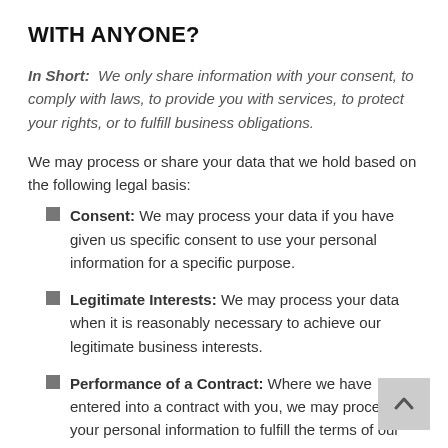WITH ANYONE?
In Short: We only share information with your consent, to comply with laws, to provide you with services, to protect your rights, or to fulfill business obligations.
We may process or share your data that we hold based on the following legal basis:
Consent: We may process your data if you have given us specific consent to use your personal information for a specific purpose.
Legitimate Interests: We may process your data when it is reasonably necessary to achieve our legitimate business interests.
Performance of a Contract: Where we have entered into a contract with you, we may process your personal information to fulfill the terms of our contract.